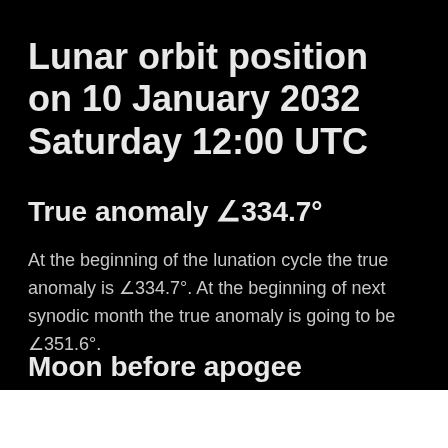Lunar orbit position on 10 January 2032 Saturday 12:00 UTC
True anomaly ∠334.7°
At the beginning of the lunation cycle the true anomaly is ∠334.7°. At the beginning of next synodic month the true anomaly is going to be ∠351.6°.
Moon before apogee